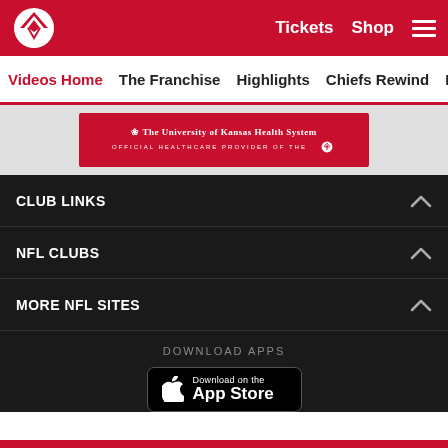Tickets  Shop  ☰
Videos Home  The Franchise  Highlights  Chiefs Rewind  Mic'd
[Figure (logo): The University of Kansas Health System - Official Healthcare Provider of the KC Chiefs banner]
CLUB LINKS
NFL CLUBS
MORE NFL SITES
DOWNLOAD APPS
[Figure (other): Download on the App Store button]